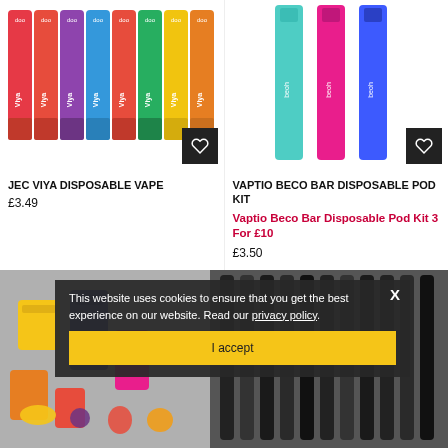[Figure (photo): JEC Viya disposable vape product image showing multiple colorful vape bars in various colors]
JEC VIYA DISPOSABLE VAPE
£3.49
[Figure (photo): Vaptio Beco Bar disposable pod kit product image showing three slim vape bars in teal, pink, and blue]
VAPTIO BECO BAR DISPOSABLE POD KIT
Vaptio Beco Bar Disposable Pod Kit 3 For £10
£3.50
[Figure (photo): Bottom product images showing colorful disposable vape devices with fruit flavors and thin vape pens]
This website uses cookies to ensure that you get the best experience on our website. Read our privacy policy.
I accept